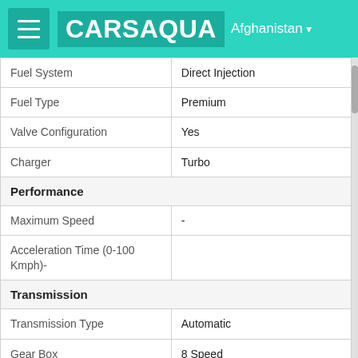CARSAQUA — Afghanistan
| Property | Value |
| --- | --- |
| Fuel System | Direct Injection |
| Fuel Type | Premium |
| Valve Configuration | Yes |
| Charger | Turbo |
| Performance |  |
| Maximum Speed | - |
| Acceleration Time (0-100 Kmph)- |  |
| Transmission |  |
| Transmission Type | Automatic |
| Gear Box | 8 Speed |
| Drive Type | Front-Wheel Drive |
| Steering |  |
| Steering Type | Power |
| Steering Gear Type | Rack-Pinion |
| Minimum Turning | - |